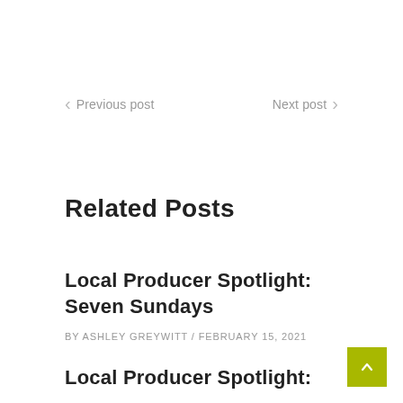< Previous post
Next post >
Related Posts
Local Producer Spotlight: Seven Sundays
BY ASHLEY GREYWITT / FEBRUARY 15, 2021
Local Producer Spotlight: